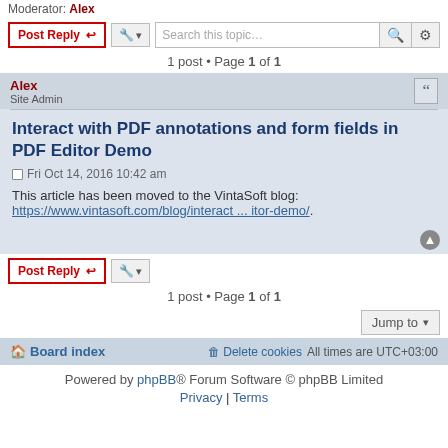Moderator: Alex
Post Reply | tools dropdown | Search this topic...
1 post • Page 1 of 1
Alex
Site Admin
Interact with PDF annotations and form fields in PDF Editor Demo
Fri Oct 14, 2016 10:42 am
This article has been moved to the VintaSoft blog:
https://www.vintasoft.com/blog/interact ... itor-demo/.
Post Reply | tools dropdown
1 post • Page 1 of 1
Jump to
Board index | Delete cookies | All times are UTC+03:00
Powered by phpBB® Forum Software © phpBB Limited
Privacy | Terms